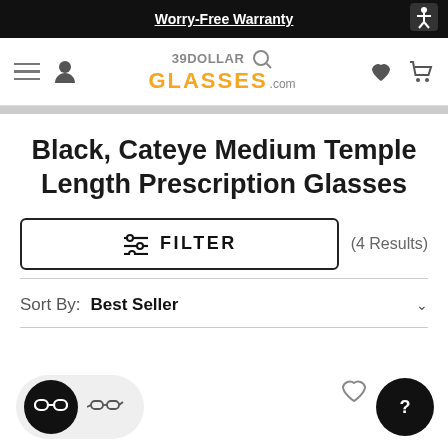Worry-Free Warranty
[Figure (screenshot): 39DollarGlasses.com website navigation bar with hamburger menu, user icon, logo, heart/wishlist icon, and cart icon]
Black, Cateye Medium Temple Length Prescription Glasses
FILTER (4 Results)
Sort By: Best Seller
[Figure (other): View toggle buttons: grid view (active, dark background) and list view; heart/favorite icon; help button (dark circle with question mark)]